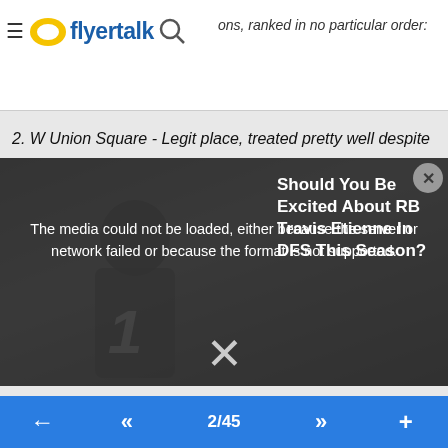flyertalk
ons, ranked in no particular order:
2. W Union Square - Legit place, treated pretty well despite
[Figure (screenshot): Media error overlay on a football player image. Shows 'The media could not be loaded, either because the server or network failed or because the format is not supported.' Also shows an ad overlay: 'Should You Be Excited About RB Travis Etienne In DFS This Season?' with a large X dismiss button.]
just because it doesn't feel like a W. Its only a few blocks away from the Edition and I think if that is the area and type of hotel you want, hands down choose Union Square W over Edition.
8. W Times Square. Probably what I consider the best W in NY, but neck and neck with the W downtown. The real con
2/45